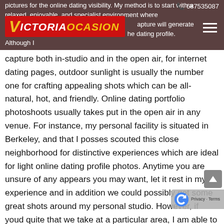[Figure (logo): VictoriaOcasion logo on red background with yellow V and white ICTORIA and yellow OCASION text]
pictures for the online dating visibility. My method is to start with a relaxed, enjoyable, and specialist environment where the capture will generate fantastic results on the online dating profile. Although I capture both in-studio and in the open air, for internet dating pages, outdoor sunlight is usually the number one for crafting appealing shots which can be all-natural, hot, and friendly. Online dating portfolio photoshoots usually takes put in the open air in any venue. For instance, my personal facility is situated in Berkeley, and that I posses scouted this close neighborhood for distinctive experiences which are ideal for light online dating profile photos. Anytime you are unsure of any appears you may want, let it rest in my experience and in addition we could possibly get some great shots around my personal studio. However, if youd quite that we take at a particular area, I am able to carry out photoshoots when you look at the san francisco bay area Bay neighborhood, I Oakland, Berkeley, San Jose, Marin, Santa Clara, Silico as well as towns and areas in-between. Most importantly, my